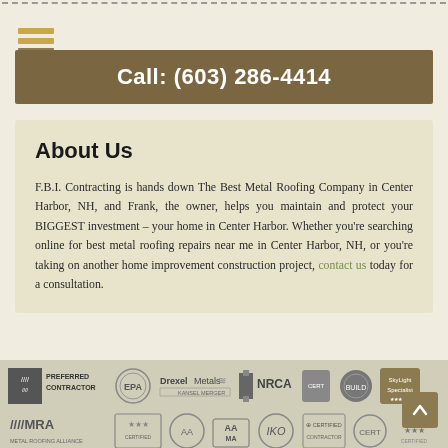Call: (603) 286-4414
About Us
F.B.I. Contracting is hands down The Best Metal Roofing Company in Center Harbor, NH, and Frank, the owner, helps you maintain and protect your BIGGEST investment – your home in Center Harbor. Whether you're searching online for best metal roofing repairs near me in Center Harbor, NH, or you're taking on another home improvement construction project, contact us today for a consultation.
[Figure (logo): Row of certification and contractor logos including Preferred Contractor, EPA, Drexel Metals, NRCA, MRA Metal Roofing Alliance, IKO, AAMA, and others]